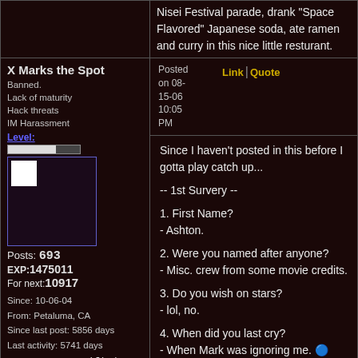Nisei Festival parade, drank "Space Flavored" Japanese soda, ate ramen and curry in this nice little resturant.
X Marks the Spot
Banned.
Lack of maturity
Hack threats
IM Harassment
Level:
Posts: 693
EXP:1475011
For next: 10917
Since: 10-06-04
From: Petaluma, CA
Since last post: 5856 days
Last activity: 5741 days
no user specified
Posted on 08-15-06 10:05 PM
Link | Quote
Since I haven't posted in this before I gotta play catch up...

-- 1st Survery --

1. First Name?
- Ashton.

2. Were you named after anyone?
- Misc. crew from some movie credits.

3. Do you wish on stars?
- lol, no.

4. When did you last cry?
- When Mark was ignoring me. 🔵

5. Do you like your handwriting?
- Of course, it's awesome.

6. What is your birthdate?
- May 19, 1990